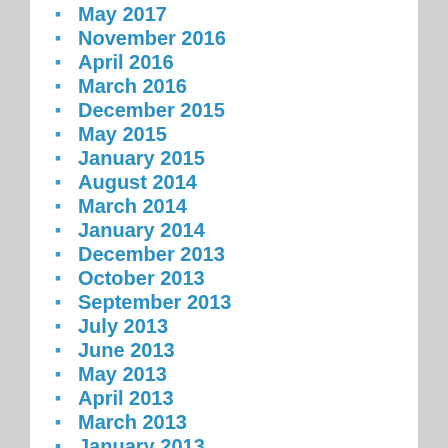May 2017
November 2016
April 2016
March 2016
December 2015
May 2015
January 2015
August 2014
March 2014
January 2014
December 2013
October 2013
September 2013
July 2013
June 2013
May 2013
April 2013
March 2013
January 2013
December 2012